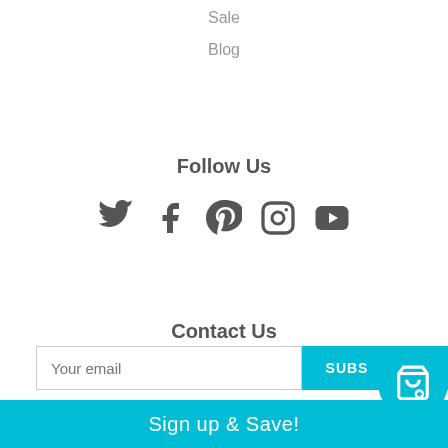Sale
Blog
Follow Us
[Figure (other): Social media icons: Twitter, Facebook, Pinterest, Instagram, YouTube]
Contact Us
sales@withaspin.com
Newsletter
Sign up for the latest news, offers and styles
Your email  SUBS
Sign up & Save!